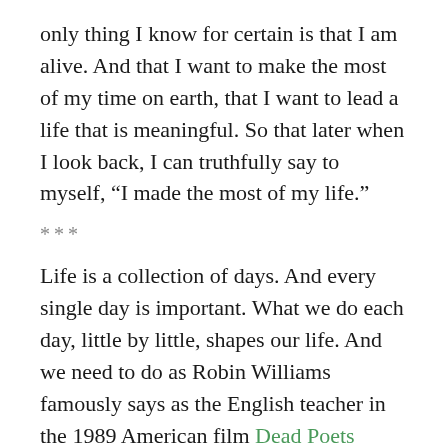only thing I know for certain is that I am alive. And that I want to make the most of my time on earth, that I want to lead a life that is meaningful. So that later when I look back, I can truthfully say to myself, “I made the most of my life.”
***
Life is a collection of days. And every single day is important. What we do each day, little by little, shapes our life. And we need to do as Robin Williams famously says as the English teacher in the 1989 American film Dead Poets Society: Carpe diem! Seize the day, boys! Make your lives extraordinary!
Yes. Every day matters. Every moment counts. Because it is only right here, right now, that things